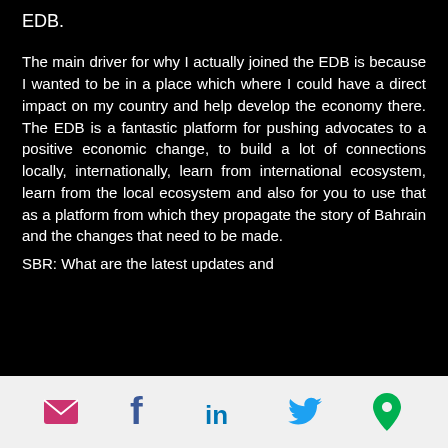EDB.
The main driver for why I actually joined the EDB is because I wanted to be in a place which where I could have a direct impact on my country and help develop the economy there. The EDB is a fantastic platform for pushing advocates to a positive economic change, to build a lot of connections locally, internationally, learn from international ecosystem, learn from the local ecosystem and also for you to use that as a platform from which they propagate the story of Bahrain and the changes that need to be made.
SBR: What are the latest updates and
email | facebook | linkedin | twitter | location